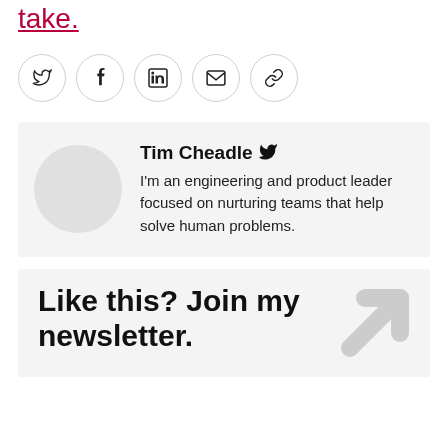take.
[Figure (other): Row of social share buttons: Twitter, Facebook, LinkedIn, Email, Link]
Tim Cheadle [twitter icon]
I'm an engineering and product leader focused on nurturing teams that help solve human problems.
Like this? Join my newsletter.